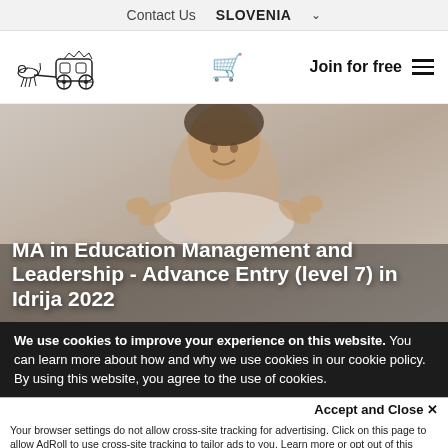Contact Us   SLOVENIA
[Figure (logo): Horse-drawn carriage logo illustration]
Join for free
[Figure (photo): Woman with curly hair gesturing with hands, smiling, against light background]
MA in Education Management and Leadership - Advance Entry (level 7) in Idrija 2022
We use cookies to improve your experience on this website. You can learn more about how and why we use cookies in our cookie policy. By using this website, you agree to the use of cookies.
Accept and Close ×
Your browser settings do not allow cross-site tracking for advertising. Click on this page to allow AdRoll to use cross-site tracking to tailor ads to you. Learn more or opt out of this AdRoll tracking by clicking here. This message only appears once.